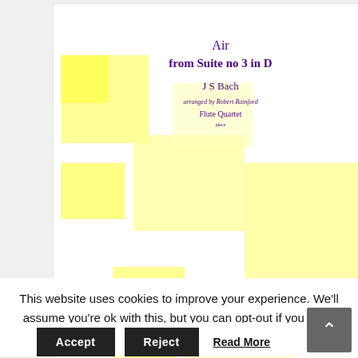[Figure (illustration): Sheet music cover for 'Air from Suite no 3 in D' by J S Bach, arranged by Robert Rainford, for Flute Quartet. Cover features overlapping yellow squares of various sizes on a white background, with a flute illustration (diagonal black flute) and a Forton Music logo in the bottom-left corner.]
Air from Suite
This website uses cookies to improve your experience. We'll assume you're ok with this, but you can opt-out if you wish.
Accept   Reject   Read More